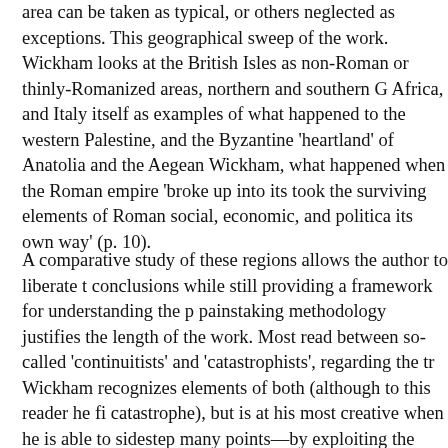area can be taken as typical, or others neglected as exceptions. This geographical sweep of the work. Wickham looks at the British Isles as non-Roman or thinly-Romanized areas, northern and southern G Africa, and Italy itself as examples of what happened to the western Palestine, and the Byzantine 'heartland' of Anatolia and the Aegean Wickham, what happened when the Roman empire 'broke up into its took the surviving elements of Roman social, economic, and politica its own way' (p. 10).
A comparative study of these regions allows the author to liberate t conclusions while still providing a framework for understanding the p painstaking methodology justifies the length of the work. Most read between so-called 'continuitists' and 'catastrophists', regarding the tr Wickham recognizes elements of both (although to this reader he fi catastrophe), but is at his most creative when he is able to sidestep many points—by exploiting the vastness of his perspective. He take control so that, judging from the amount of gold found in sites such is evidence that a few Danish aristocrats did rather well from the em west; they were able to acquire Roman wealth either as gifts or boo authoritative analysis of the eastern Mediterranean. In Egypt, neithe went away despite Arab invasion and conversion to Islam. Constant eminent city in Europe, and, after a wobbly late-seventh and eighth